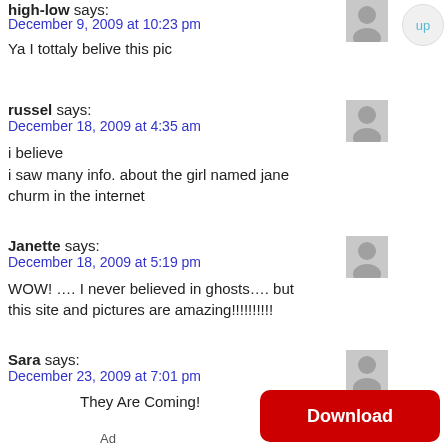high-low says:
December 9, 2009 at 10:23 pm
Ya I tottaly belive this pic
russel says:
December 18, 2009 at 4:35 am
i believe
i saw many info. about the girl named jane churm in the internet
Janette says:
December 18, 2009 at 5:19 pm
WOW! …. I never believed in ghosts…. but this site and pictures are amazing!!!!!!!!!!!
Sara says:
December 23, 2009 at 7:01 pm
They Are Coming!
Ad